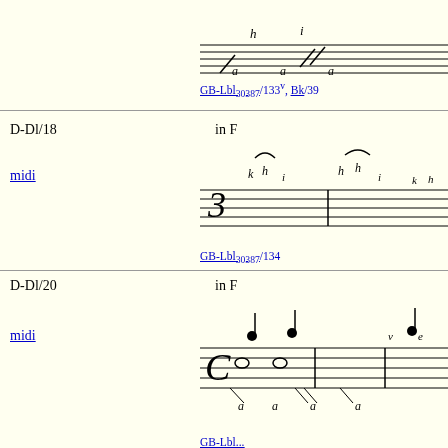[Figure (illustration): Music notation snippet showing baroque ornaments and note letters (h, i, a) on a staff]
GB-Lbl30387/133v, Bk/39
D-Dl/18
in F
midi
[Figure (illustration): Music notation in F showing time signature 3, baroque staff with ornament letters k, h, i]
GB-Lbl30387/134
D-Dl/20
in F
midi
[Figure (illustration): Music notation in F with C time signature, semibreve notes and ornament letters a, v, e on staff]
GB-Lbl... D-Dl/... Hll... /...